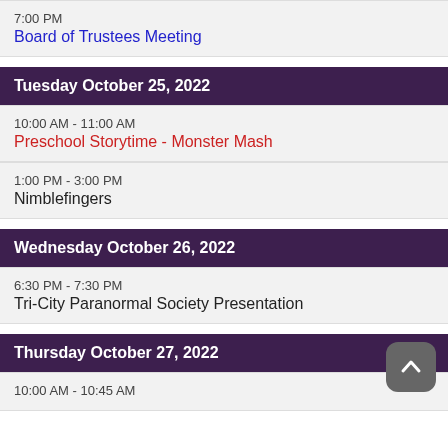7:00 PM
Board of Trustees Meeting
Tuesday October 25, 2022
10:00 AM - 11:00 AM
Preschool Storytime - Monster Mash
1:00 PM - 3:00 PM
Nimblefingers
Wednesday October 26, 2022
6:30 PM - 7:30 PM
Tri-City Paranormal Society Presentation
Thursday October 27, 2022
10:00 AM - 10:45 AM